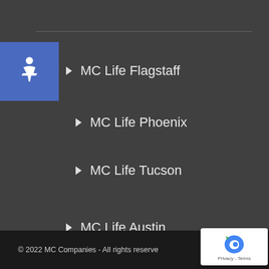MC Life Flagstaff
MC Life Phoenix
MC Life Tucson
MC Life Austin
MC Life Dallas
MC Life Houston
MC Life San Antonio
MC Life Tulsa
© 2022 MC Companies - All rights reserve